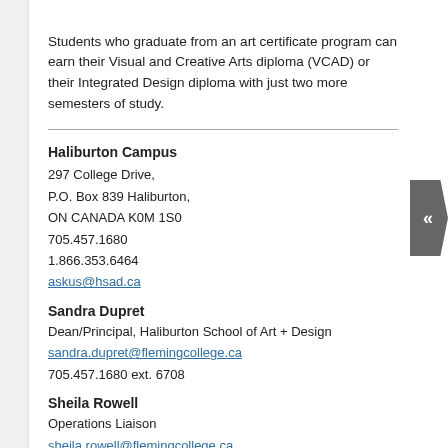Students who graduate from an art certificate program can earn their Visual and Creative Arts diploma (VCAD) or their Integrated Design diploma with just two more semesters of study.
Haliburton Campus
297 College Drive,
P.O. Box 839 Haliburton,
ON CANADA K0M 1S0
705.457.1680
1.866.353.6464
askus@hsad.ca
Sandra Dupret
Dean/Principal, Haliburton School of Art + Design
sandra.dupret@flemingcollege.ca
705.457.1680 ext. 6708
Sheila Rowell
Operations Liaison
sheila.rowell@flemingcollege.ca
705.457.1680 ext. 6729